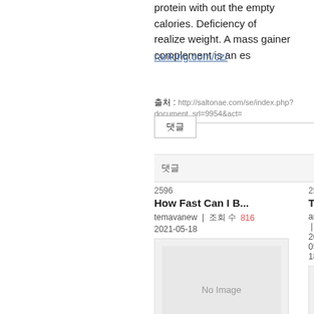protein with out the empty calories. Deficiency of realize weight. A mass gainer complement is an es
ranking.com/cz/
출처 : http://saltonae.com/se/index.php?document_srl=9954&act=
댓글
댓글
2596
How Fast Can I B...
temavanew | 조회 수 816
2021-05-18
[Figure (photo): No Image placeholder]
Most people could not tell if they do bodybuilding ...
2595
Толщина
anolile | 
2021-05-18
[Figure (photo): No Image placeholder (partial)]
Как прави приготовл благонепр